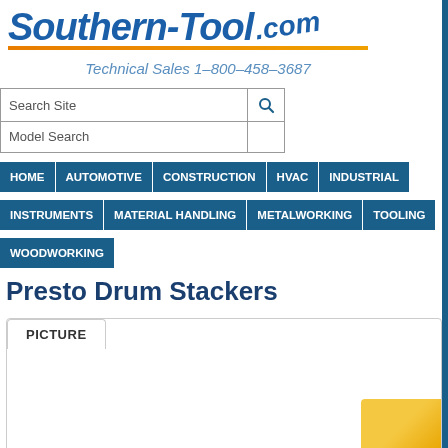[Figure (logo): Southern-Tool.com logo with orange underline and italic blue text]
Technical Sales 1–800–458–3687
Search Site
Model Search
HOME | AUTOMOTIVE | CONSTRUCTION | HVAC | INDUSTRIAL | INSTRUMENTS | MATERIAL HANDLING | METALWORKING | TOOLING | WOODWORKING
Presto Drum Stackers
PICTURE